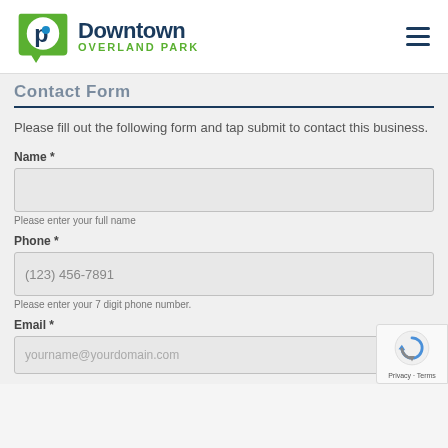Downtown Overland Park
Contact Form
Please fill out the following form and tap submit to contact this business.
Name *
Please enter your full name
Phone *
(123) 456-7891
Please enter your 7 digit phone number.
Email *
yourname@yourdomain.com